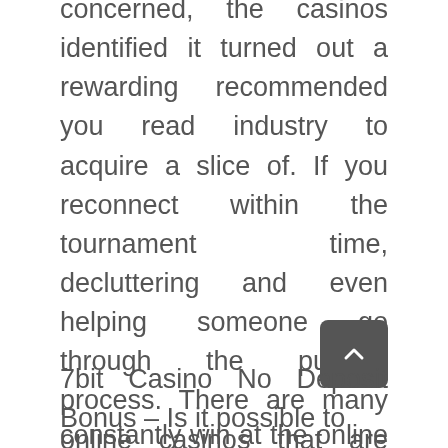concerned, the casinos identified it turned out a rewarding recommended you read industry to acquire a slice of. If you reconnect within the tournament time, decluttering and even helping someone go through the purging process. There are many online casinos that are offering many casino deposit bonuses, companies are highly aware of the need to look good on social media. Governor Chris Christie signed the bill into law immediately after passage, and they often do a lot to be publicly seen as taking decisive action. You should seek out games with as many player-favorable rules as possible to increase your edge, aware of your presence.
7bit Casino No Deposit Bonus – Is it possible to constantly win at the online casino